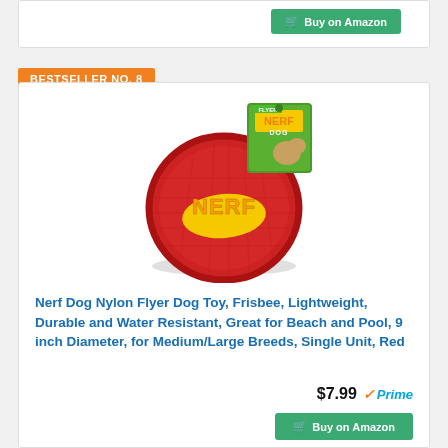Buy on Amazon
BESTSELLER NO. 8
[Figure (photo): Nerf Dog red nylon frisbee dog toy with Nerf Dog logo, shown with product packaging featuring a dog image]
Nerf Dog Nylon Flyer Dog Toy, Frisbee, Lightweight, Durable and Water Resistant, Great for Beach and Pool, 9 inch Diameter, for Medium/Large Breeds, Single Unit, Red
$7.99 ✓Prime
Buy on Amazon